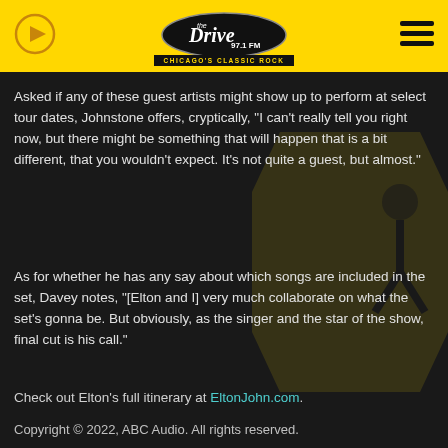The Drive 97.1 FM — CHICAGO'S CLASSIC ROCK
Asked if any of these guest artists might show up to perform at select tour dates, Johnstone offers, cryptically, "I can't really tell you right now, but there might be something that will happen that is a bit different, that you wouldn't expect. It's not quite a guest, but almost."
As for whether he has any say about which songs are included in the set, Davey notes, "[Elton and I] very much collaborate on what the set's gonna be. But obviously, as the singer and the star of the show, final cut is his call."
Check out Elton's full itinerary at EltonJohn.com.
Copyright © 2022, ABC Audio. All rights reserved.